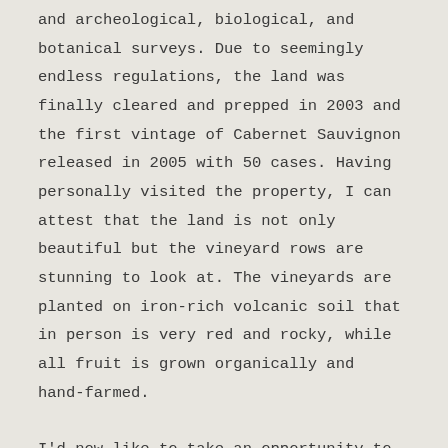and archeological, biological, and botanical surveys. Due to seemingly endless regulations, the land was finally cleared and prepped in 2003 and the first vintage of Cabernet Sauvignon released in 2005 with 50 cases. Having personally visited the property, I can attest that the land is not only beautiful but the vineyard rows are stunning to look at. The vineyards are planted on iron-rich volcanic soil that in person is very red and rocky, while all fruit is grown organically and hand-farmed.
I'd now like to take an opportunity to discuss my visit to Red Cap Vineyards, because as one of many in Napa it...